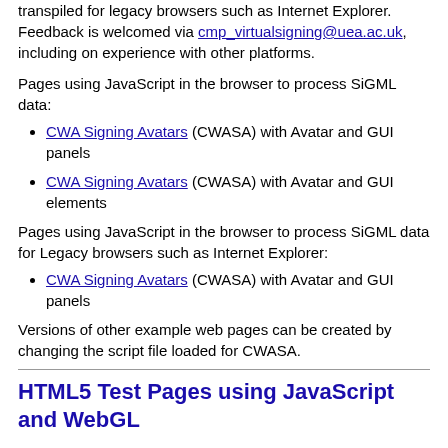transpiled for legacy browsers such as Internet Explorer. Feedback is welcomed via cmp_virtualsigning@uea.ac.uk, including on experience with other platforms.
Pages using JavaScript in the browser to process SiGML data:
CWA Signing Avatars (CWASA) with Avatar and GUI panels
CWA Signing Avatars (CWASA) with Avatar and GUI elements
Pages using JavaScript in the browser to process SiGML data for Legacy browsers such as Internet Explorer:
CWA Signing Avatars (CWASA) with Avatar and GUI panels
Versions of other example web pages can be created by changing the script file loaded for CWASA.
HTML5 Test Pages using JavaScript and WebGL